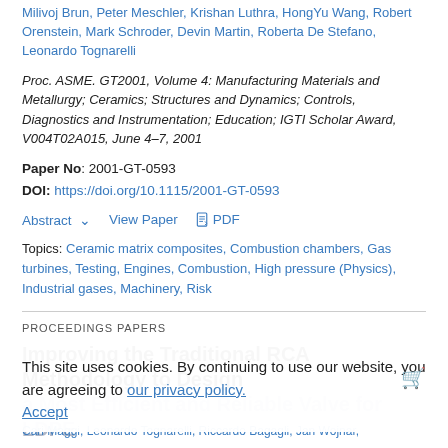Milivoj Brun, Peter Meschler, Krishan Luthra, HongYu Wang, Robert Orenstein, Mark Schroder, Devin Martin, Roberta De Stefano, Leonardo Tognarelli
Proc. ASME. GT2001, Volume 4: Manufacturing Materials and Metallurgy; Ceramics; Structures and Dynamics; Controls, Diagnostics and Instrumentation; Education; IGTI Scholar Award, V004T02A015, June 4–7, 2001
Paper No: 2001-GT-0593
DOI: https://doi.org/10.1115/2001-GT-0593
Abstract ∨   View Paper   PDF
Topics: Ceramic matrix composites, Combustion chambers, Gas turbines, Testing, Engines, Combustion, High pressure (Physics), Industrial gases, Machinery, Risk
PROCEEDINGS PAPERS
Improving the Traditional RCA Methodology to Design a Most Efficient and Reliable Valve for LDPE
This site uses cookies. By continuing to use our website, you are agreeing to our privacy policy. Accept
Cari Maggi, Leonardo Tognarelli, Riccardo Bagagli, Jan Wojnar,